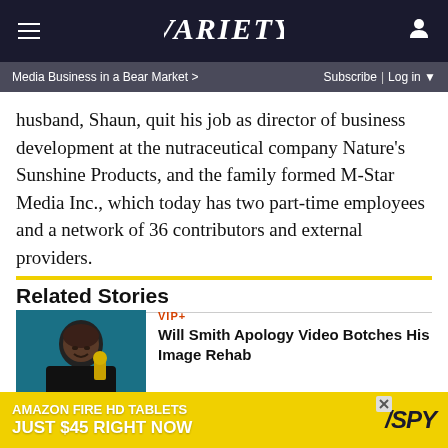VARIETY — Media Business in a Bear Market > | Subscribe | Log in
husband, Shaun, quit his job as director of business development at the nutraceutical company Nature's Sunshine Products, and the family formed M-Star Media Inc., which today has two part-time employees and a network of 36 contributors and external providers.
Related Stories
VIP+ — Will Smith Apology Video Botches His Image Rehab
Snap Nixes Pixy, Its Selfie Drone for Consumers